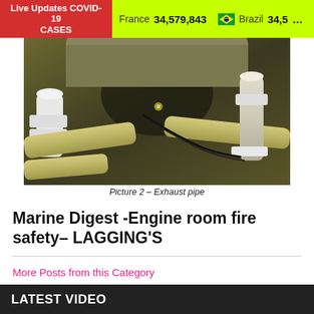Live Updates COVID-19 CASES   France 34,579,843   Brazil 34,5...
[Figure (photo): Close-up photograph of engine room exhaust pipe with yellow-green pipes and mechanical fittings visible in dim lighting.]
Picture 2 – Exhaust pipe
Marine Digest -Engine room fire safety– LAGGING'S
More Posts from this Category
LATEST VIDEO